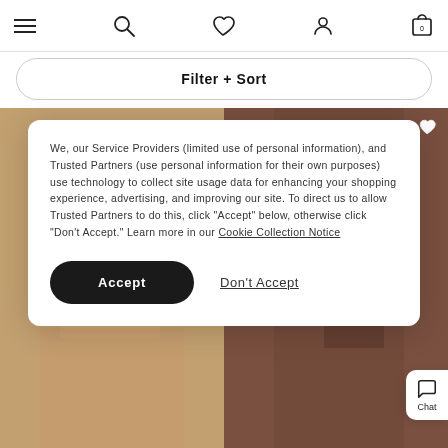Navigation bar with menu, search, wishlist, account, and cart (0) icons
Filter + Sort
[Figure (photo): Two product photos side by side: left shows a person on a beach in a swimsuit, right shows a person with long brown hair in a swimsuit]
We, our Service Providers (limited use of personal information), and Trusted Partners (use personal information for their own purposes) use technology to collect site usage data for enhancing your shopping experience, advertising, and improving our site. To direct us to allow Trusted Partners to do this, click "Accept" below, otherwise click "Don't Accept." Learn more in our Cookie Collection Notice
Accept
Don't Accept